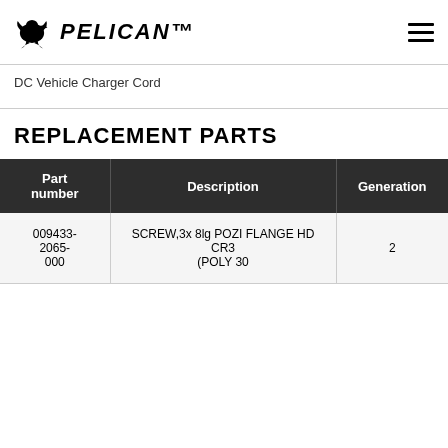PELICAN
DC Vehicle Charger Cord
REPLACEMENT PARTS
| Part number | Description | Generation |
| --- | --- | --- |
| 009433-2065-000 | SCREW,3x 8lg POZI FLANGE HD CR3 (POLY 30 | 2 |